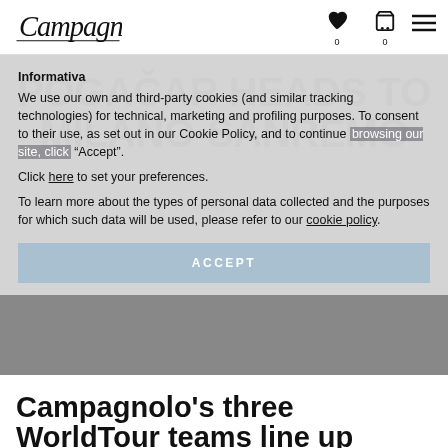Campagnolo logo | heart icon 0 | cart icon 0 | menu icon
POGAČAR HEADS TO MILANO-SANREMO
17 MARCH 2022
Informativa
We use our own and third-party cookies (and similar tracking technologies) for technical, marketing and profiling purposes. To consent to their use, as set out in our Cookie Policy, and to continue browsing our site, click "Accept".
Click here to set your preferences.
To learn more about the types of personal data collected and the purposes for which such data will be used, please refer to our cookie policy
ACCEPT
Campagnolo's three WorldTour teams line up